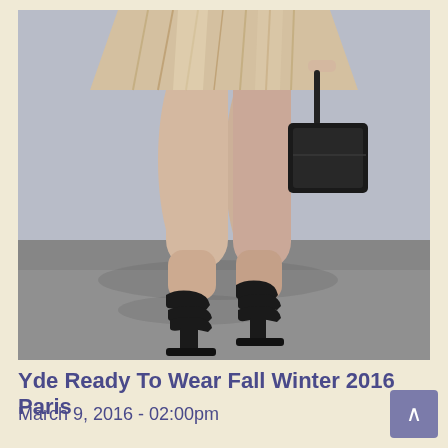[Figure (photo): Fashion runway photograph showing the lower body of a model wearing a champagne/gold pleated mini skirt and carrying a black handbag, walking in black strappy high-heeled sandals on a grey concrete floor.]
Yde Ready To Wear Fall Winter 2016 Paris
March 9, 2016 - 02:00pm